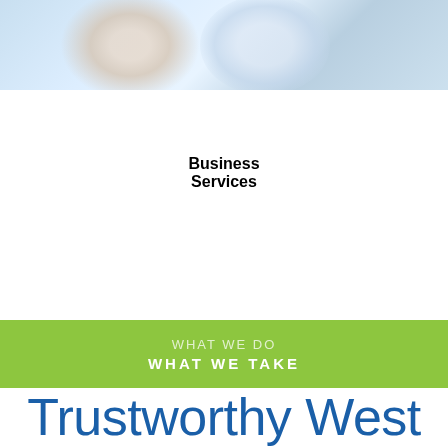[Figure (photo): Blurred banner photo of people in a professional/office setting with light blue tones]
Business Services
WHAT WE DO
WHAT WE TAKE
Trustworthy West Hartford Junk